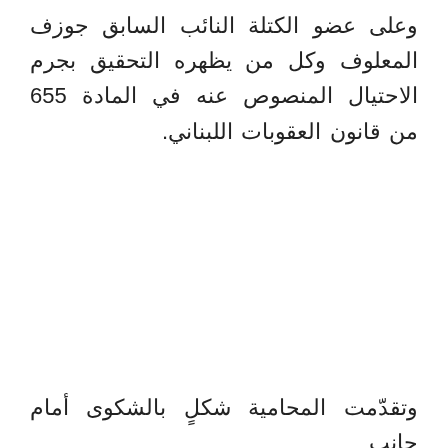وعلى عضو الكتلة النائب السابق جوزف المعلوف وكل من يظهره التحقيق بجرم الاحتيال المنصوص عنه في المادة 655 من قانون العقوبات اللبناني.
وتقدّمت المحامية شكلٍ بالشكوى أمام جانب